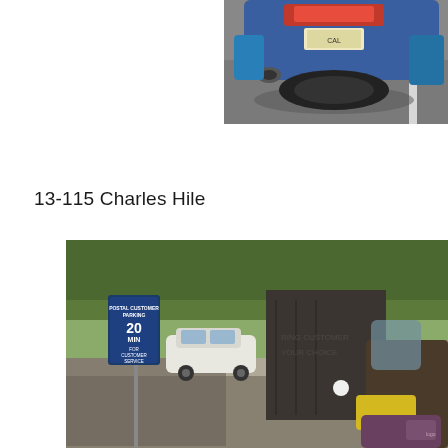[Figure (photo): Close-up rear view of a motorcycle on a road, showing the tail light, license plate, exhaust pipe, and blue saddlebag.]
13-115 Charles Hile
[Figure (photo): Street scene showing a postal customer parking sign reading '20 MIN FOR CUSTOMER SERVICE ONLY', a parked white car, trees, a large dark wall, and the front portion of a motorcycle with yellow and purple bags.]